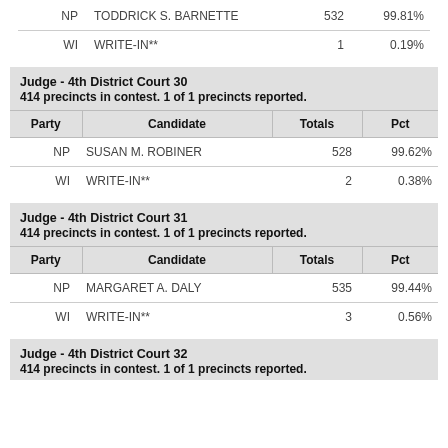| Party | Candidate | Totals | Pct |
| --- | --- | --- | --- |
| NP | TODDRICK S. BARNETTE | 532 | 99.81% |
| WI | WRITE-IN** | 1 | 0.19% |
Judge - 4th District Court 30
414 precincts in contest. 1 of 1 precincts reported.
| Party | Candidate | Totals | Pct |
| --- | --- | --- | --- |
| NP | SUSAN M. ROBINER | 528 | 99.62% |
| WI | WRITE-IN** | 2 | 0.38% |
Judge - 4th District Court 31
414 precincts in contest. 1 of 1 precincts reported.
| Party | Candidate | Totals | Pct |
| --- | --- | --- | --- |
| NP | MARGARET A. DALY | 535 | 99.44% |
| WI | WRITE-IN** | 3 | 0.56% |
Judge - 4th District Court 32
414 precincts in contest. 1 of 1 precincts reported.